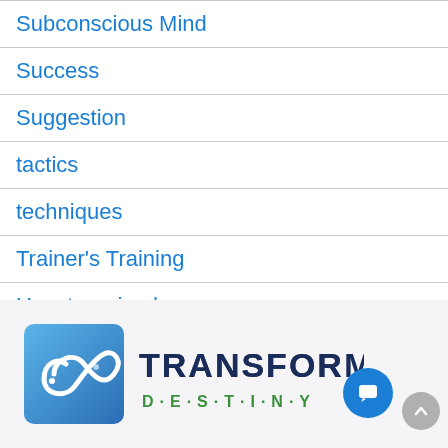Subconscious Mind
Success
Suggestion
tactics
techniques
Trainer's Training
Uncategorized
Wealth
[Figure (logo): Transform Destiny logo with blue/green square icon on the left and 'TRANSFORM DESTINY' text on the right in dark navy and green]